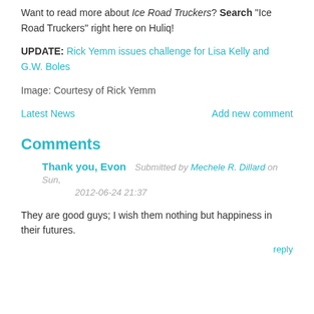Want to read more about Ice Road Truckers? Search "Ice Road Truckers" right here on Huliq!
UPDATE: Rick Yemm issues challenge for Lisa Kelly and G.W. Boles
Image: Courtesy of Rick Yemm
Latest News
Add new comment
Comments
Thank you, Evon
Submitted by Mechele R. Dillard on Sun, 2012-06-24 21:37
They are good guys; I wish them nothing but happiness in their futures.
reply